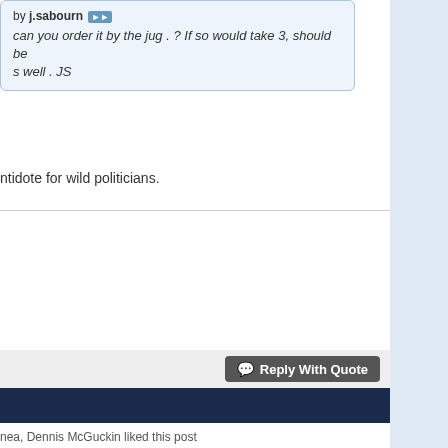by j.sabourn
can you order it by the jug . ? If so would take 3, should be s well . JS
ntidote for wild politicians.
opy daze John in Oz.
Reply With Quote
nea, Dennis McGuckin liked this post